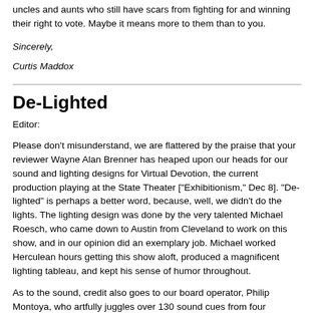uncles and aunts who still have scars from fighting for and winning their right to vote. Maybe it means more to them than to you.
Sincerely,
Curtis Maddox
De-Lighted
Editor:
Please don't misunderstand, we are flattered by the praise that your reviewer Wayne Alan Brenner has heaped upon our heads for our sound and lighting designs for Virtual Devotion, the current production playing at the State Theater ["Exhibitionism," Dec 8]. "De-lighted" is perhaps a better word, because, well, we didn't do the lights. The lighting design was done by the very talented Michael Roesch, who came down to Austin from Cleveland to work on this show, and in our opinion did an exemplary job. Michael worked Herculean hours getting this show aloft, produced a magnificent lighting tableau, and kept his sense of humor throughout.
As to the sound, credit also goes to our board operator, Philip Montoya, who artfully juggles over 130 sound cues from four recorded sound sources and five live microphones through an array